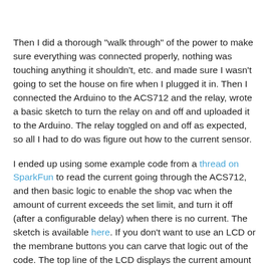Then I did a thorough "walk through" of the power to make sure everything was connected properly, nothing was touching anything it shouldn't, etc. and made sure I wasn't going to set the house on fire when I plugged it in.  Then I connected the Arduino to the ACS712 and the relay, wrote a basic sketch to turn the relay on and off and uploaded it to the Arduino.  The relay toggled on and off as expected, so all I had to do was figure out how to the current sensor.
I ended up using some example code from a thread on SparkFun to read the current going through the ACS712, and then basic logic to enable the shop vac when the amount of current exceeds the set limit, and turn it off (after a configurable delay) when there is no current.   The sketch is available here.  If you don't want to use an LCD or the membrane buttons you can carve that logic out of the code.  The top line of the LCD displays the current amount of amperage, the configured / trip current, and the current state of the mode button which toggles buttons 3 & 4 from